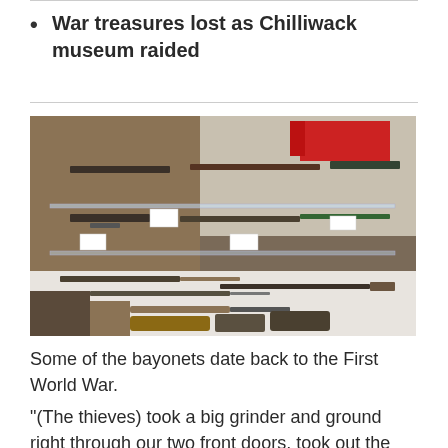War treasures lost as Chilliwack museum raided
[Figure (photo): Museum display case showing multiple bayonets and bladed weapons from WWI era, arranged on glass shelves with small identification labels]
Some of the bayonets date back to the First World War.
"(The thieves) took a big grinder and ground right through our two front doors, took out the